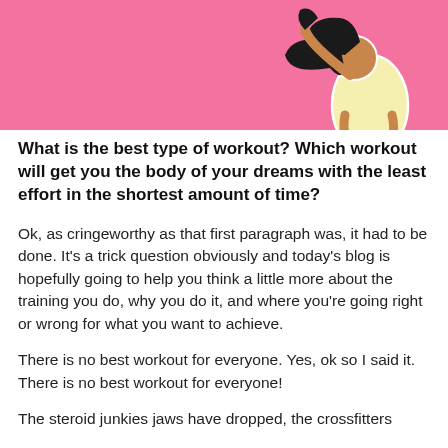[Figure (illustration): Pink banner background with a cartoon/illustrated woman in a yellow outfit with dark hair, posed dynamically]
What is the best type of workout?  Which workout will get you the body of your dreams with the least effort in the shortest amount of time?
Ok, as cringeworthy as that first paragraph was, it had to be done.  It's a trick question obviously and today's blog is hopefully going to help you think a little more about the training you do, why you do it, and where you're going right or wrong for what you want to achieve.
There is no best workout for everyone.  Yes, ok so I said it. There is no best workout for everyone!
The steroid junkies jaws have dropped, the crossfitters